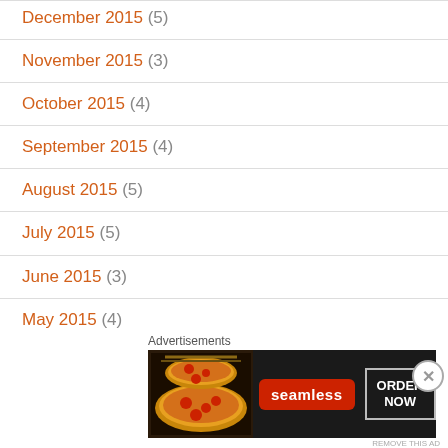December 2015 (5)
November 2015 (3)
October 2015 (4)
September 2015 (4)
August 2015 (5)
July 2015 (5)
June 2015 (3)
May 2015 (4)
April 2015 (3)
March 2015 (5)
February 2015 (5)
[Figure (other): Seamless food delivery advertisement banner with pizza image, Seamless logo, and ORDER NOW button]
Advertisements